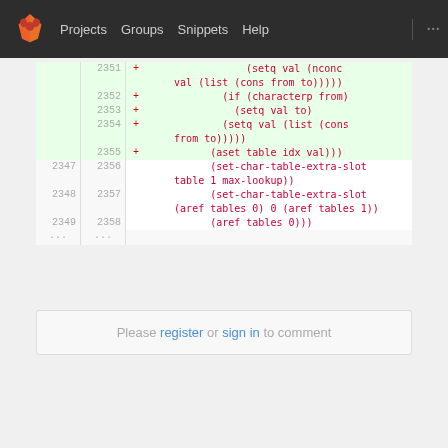Projects  Groups  Snippets  Help
[Figure (screenshot): GitLab-style code diff view showing added lines 2351-2355 in green with + markers, and normal lines 2347-2349/2356-2358 showing Emacs Lisp code including set-char-table-extra-slot and aref operations]
Please register or sign in to comment